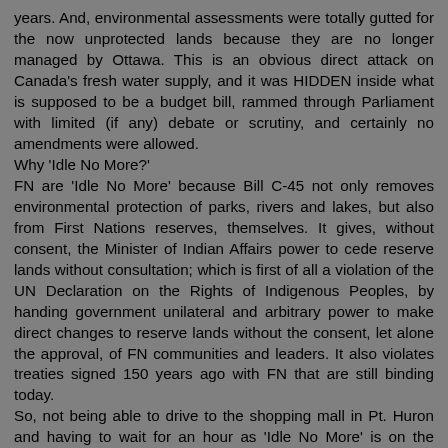years. And, environmental assessments were totally gutted for the now unprotected lands because they are no longer managed by Ottawa. This is an obvious direct attack on Canada's fresh water supply, and it was HIDDEN inside what is supposed to be a budget bill, rammed through Parliament with limited (if any) debate or scrutiny, and certainly no amendments were allowed.
Why 'Idle No More?'
FN are 'Idle No More' because Bill C-45 not only removes environmental protection of parks, rivers and lakes, but also from First Nations reserves, themselves. It gives, without consent, the Minister of Indian Affairs power to cede reserve lands without consultation; which is first of all a violation of the UN Declaration on the Rights of Indigenous Peoples, by handing government unilateral and arbitrary power to make direct changes to reserve lands without the consent, let alone the approval, of FN communities and leaders. It also violates treaties signed 150 years ago with FN that are still binding today.
So, not being able to drive to the shopping mall in Pt. Huron and having to wait for an hour as 'Idle No More' is on the bridge, seems to me to be pretty small potatoes of a